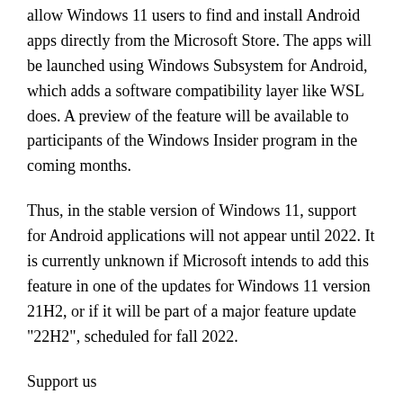allow Windows 11 users to find and install Android apps directly from the Microsoft Store. The apps will be launched using Windows Subsystem for Android, which adds a software compatibility layer like WSL does. A preview of the feature will be available to participants of the Windows Insider program in the coming months.
Thus, in the stable version of Windows 11, support for Android applications will not appear until 2022. It is currently unknown if Microsoft intends to add this feature in one of the updates for Windows 11 version 21H2, or if it will be part of a major feature update "22H2", scheduled for fall 2022.
Support us
Winaero greatly relies on your support. You can help the site keep bringing you interesting and useful content and software by using these options: